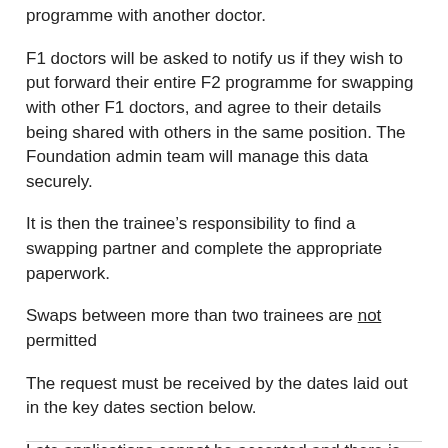programme with another doctor.
F1 doctors will be asked to notify us if they wish to put forward their entire F2 programme for swapping with other F1 doctors, and agree to their details being shared with others in the same position. The Foundation admin team will manage this data securely.
It is then the trainee’s responsibility to find a swapping partner and complete the appropriate paperwork.
Swaps between more than two trainees are not permitted
The request must be received by the dates laid out in the key dates section below.
Late applications cannot be accepted and there is no opportunity to appeal.